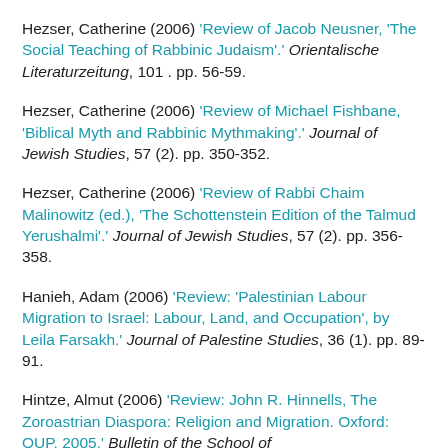Hezser, Catherine (2006) 'Review of Jacob Neusner, 'The Social Teaching of Rabbinic Judaism'.' Orientalische Literaturzeitung, 101 . pp. 56-59.
Hezser, Catherine (2006) 'Review of Michael Fishbane, 'Biblical Myth and Rabbinic Mythmaking'.' Journal of Jewish Studies, 57 (2). pp. 350-352.
Hezser, Catherine (2006) 'Review of Rabbi Chaim Malinowitz (ed.), 'The Schottenstein Edition of the Talmud Yerushalmi'.' Journal of Jewish Studies, 57 (2). pp. 356-358.
Hanieh, Adam (2006) 'Review: 'Palestinian Labour Migration to Israel: Labour, Land, and Occupation', by Leila Farsakh.' Journal of Palestine Studies, 36 (1). pp. 89-91.
Hintze, Almut (2006) 'Review: John R. Hinnells, The Zoroastrian Diaspora: Religion and Migration. Oxford: OUP, 2005.' Bulletin of the School of...